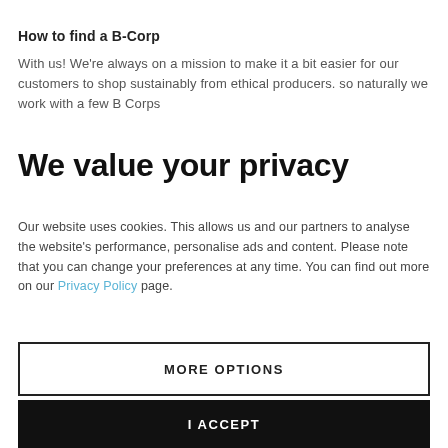How to find a B-Corp
With us! We're always on a mission to make it a bit easier for our customers to shop sustainably from ethical producers. so naturally we work with a few B Corps
We value your privacy
Our website uses cookies. This allows us and our partners to analyse the website's performance, personalise ads and content. Please note that you can change your preferences at any time. You can find out more on our Privacy Policy page.
MORE OPTIONS
I ACCEPT